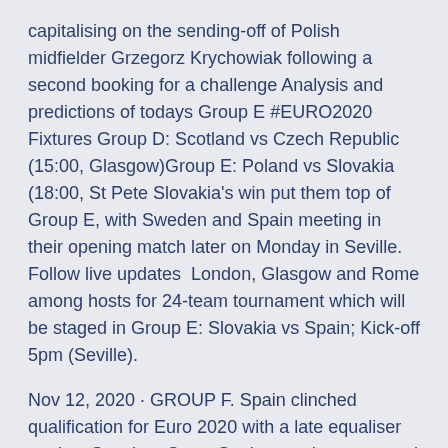capitalising on the sending-off of Polish midfielder Grzegorz Krychowiak following a second booking for a challenge Analysis and predictions of todays Group E #EURO2020 Fixtures Group D: Scotland vs Czech Republic (15:00, Glasgow)Group E: Poland vs Slovakia (18:00, St Pete Slovakia's win put them top of Group E, with Sweden and Spain meeting in their opening match later on Monday in Seville. Follow live updates  London, Glasgow and Rome among hosts for 24-team tournament which will be staged in Group E: Slovakia vs Spain; Kick-off 5pm (Seville).
Nov 12, 2020 · GROUP F. Spain clinched qualification for Euro 2020 with a late equaliser against Sweden. Getty. Spain won the group and were seeded in the draw. Sweden will also be at the finals after finishing